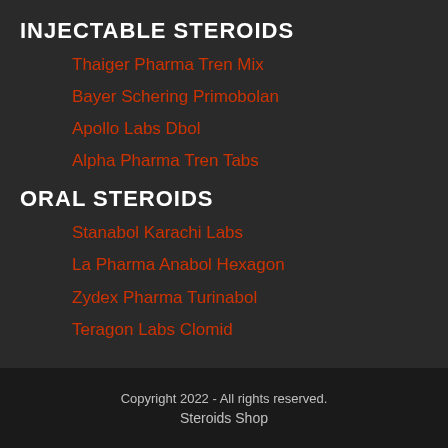INJECTABLE STEROIDS
Thaiger Pharma Tren Mix
Bayer Schering Primobolan
Apollo Labs Dbol
Alpha Pharma Tren Tabs
ORAL STEROIDS
Stanabol Karachi Labs
La Pharma Anabol Hexagon
Zydex Pharma Turinabol
Teragon Labs Clomid
Copyright 2022 - All rights reserved.
Steroids Shop